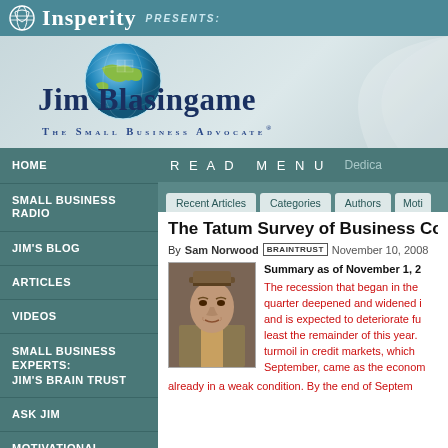Insperity PRESENTS:
[Figure (logo): Jim Blasingame The Small Business Advocate logo with globe graphic]
HOME
SMALL BUSINESS RADIO
JIM'S BLOG
ARTICLES
VIDEOS
SMALL BUSINESS EXPERTS: JIM'S BRAIN TRUST
ASK JIM
MOTIVATIONAL MINUTE
SMALL BUSINESS MINUTE
READ MENU  Dedica
Recent Articles  Categories  Authors  Moti
The Tatum Survey of Business Co
By Sam Norwood BRAINTRUST  November 10, 2008
[Figure (photo): Author photo of Sam Norwood, a man wearing a hat]
Summary as of November 1, 2
The recession that began in the quarter deepened and widened i and is expected to deteriorate fu least the remainder of this year. turmoil in credit markets, which September, came as the econom already in a weak condition. By the end of Septem